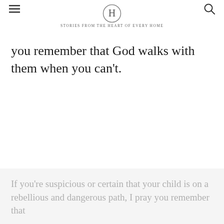H — STORIES FROM THE HEART OF EVERY HOME
you remember that God walks with them when you can't.
If you're suspicious or certain that your child is on a rebellious and dangerous path, I pray you remember that